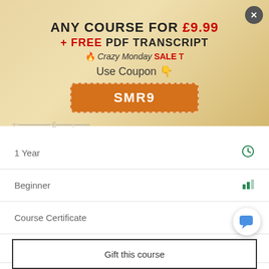ANY COURSE FOR £9.99 + FREE PDF TRANSCRIPT 🔥 Crazy Monday SALE T
Use Coupon 👇
SMR9
1 Year
Beginner
Course Certificate
Number Of Units  17
Number Of Quizzes  0
1 Hour, 42 Minutes
Gift this course